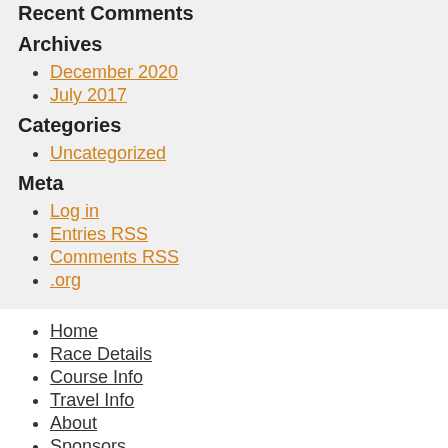Recent Comments
Archives
December 2020
July 2017
Categories
Uncategorized
Meta
Log in
Entries RSS
Comments RSS
.org
Home
Race Details
Course Info
Travel Info
About
Sponsors
Results
Contact
KH Races
Register